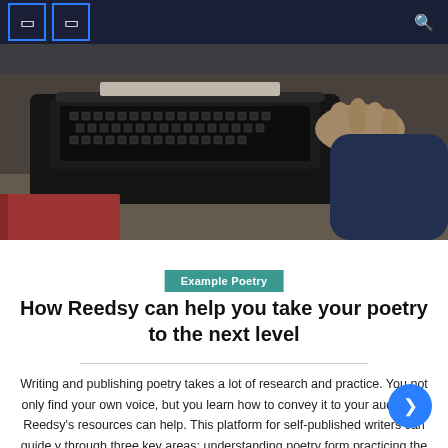Navigation bar with icons
[Figure (photo): Close-up photograph of a person's hands typing on a vintage black typewriter, with a red book visible in the lower left corner]
Example Poetry
How Reedsy can help you take your poetry to the next level
Writing and publishing poetry takes a lot of research and practice. You not only find your own voice, but you learn how to convey it to your audience. Reedsy’s resources can help. This platform for self-published writers can guide you through three key areas: understanding poetry forms, practicing the creative process, and getting your work [...]